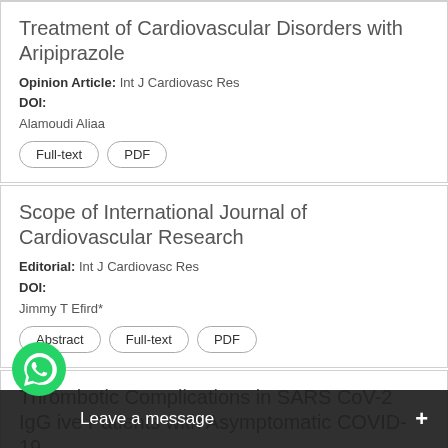Treatment of Cardiovascular Disorders with Aripiprazole
Opinion Article: Int J Cardiovasc Res
DOI:
Alamoudi Aliaa
Full-text | PDF
Scope of International Journal of Cardiovascular Research
Editorial: Int J Cardiovasc Res
DOI:
Jimmy T Efird*
Abstract | Full-text | PDF
Thrombotic Complications in SARS CoV-2 IgG ive Patients with Asymptomatic COVID-19
Case
DOI: